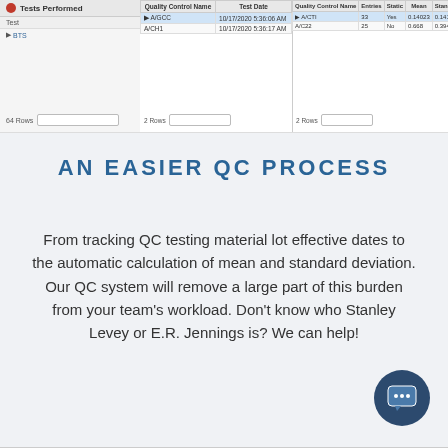[Figure (screenshot): Software interface screenshot showing three panels: left panel with Tests Performed list showing test 'BTS', middle panel with Quality Control Name and Test Date table showing entries A/GCC and A/CH1, right panel with QC statistics table showing Quality Control Name, Entries, Static, Mean, and Standard Deviation columns for A/CTI and A/C22.]
AN EASIER QC PROCESS
From tracking QC testing material lot effective dates to the automatic calculation of mean and standard deviation. Our QC system will remove a large part of this burden from your team's workload. Don't know who Stanley Levey or E.R. Jennings is? We can help!